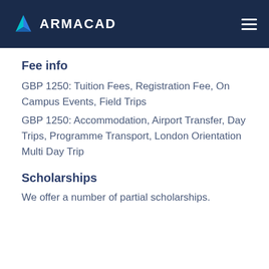ARMACAD
Fee info
GBP 1250: Tuition Fees, Registration Fee, On Campus Events, Field Trips
GBP 1250: Accommodation, Airport Transfer, Day Trips, Programme Transport, London Orientation Multi Day Trip
Scholarships
We offer a number of partial scholarships.